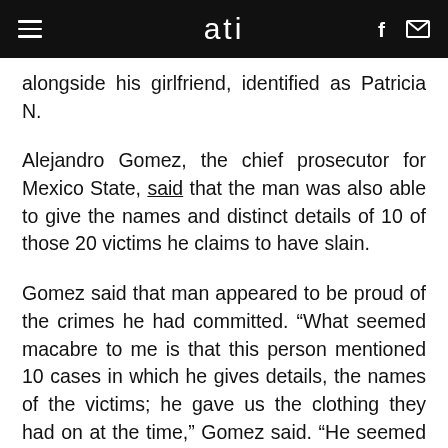ati
alongside his girlfriend, identified as Patricia N.
Alejandro Gomez, the chief prosecutor for Mexico State, said that the man was also able to give the names and distinct details of 10 of those 20 victims he claims to have slain.
Gomez said that man appeared to be proud of the crimes he had committed. “What seemed macabre to me is that this person mentioned 10 cases in which he gives details, the names of the victims; he gave us the clothing they had on at the time,” Gomez said. “He seemed happy about what he had done.”